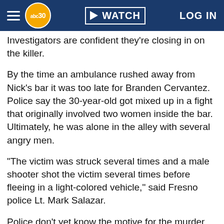abc30 WATCH LOG IN
Investigators are confident they're closing in on the killer.
By the time an ambulance rushed away from Nick's bar it was too late for Branden Cervantez. Police say the 30-year-old got mixed up in a fight that originally involved two women inside the bar. Ultimately, he was alone in the alley with several angry men.
"The victim was struck several times and a male shooter shot the victim several times before fleeing in a light-colored vehicle," said Fresno police Lt. Mark Salazar.
Police don't yet know the motive for the murder. They say Cervantez may have initially tried to break up the bar fight.
But as a fan of the St. Louis Rams, he may have stood out on a night his team played the San Francisco 49ers, and for one